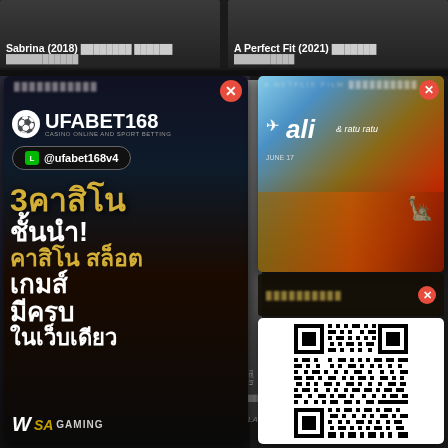[Figure (screenshot): Movie thumbnail for Sabrina (2018) with Thai subtitle text]
Sabrina (2018) ████████ ██████ ████████████
[Figure (screenshot): Movie thumbnail for A Perfect Fit (2021) with Thai subtitle text]
A Perfect Fit (2021) ███████ ██████████
[Figure (advertisement): UFABET168 casino advertisement with Thai text: 3คาสิโน ชั้นนำ! คาสิโน สล็อต เกมส์ มีครบ ในเว็บเดียว, LINE @ufabet168v4, WS SA GAMING logo]
[Figure (screenshot): Ali & Ratu Ratu Netflix movie poster showing bridge, Statue of Liberty]
[Figure (screenshot): Orange/yellow tinted movie thumbnail with close button and blurred Thai text]
[Figure (other): QR code in white panel for UFABET168 LINE contact @ufabet168v4]